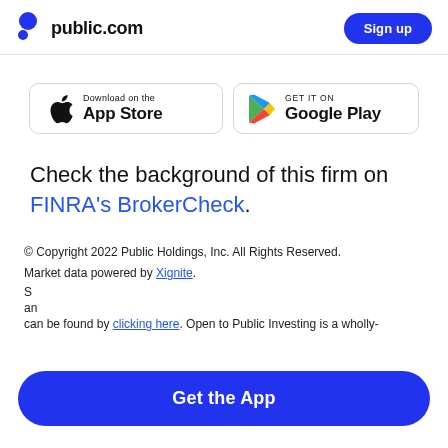public.com  Sign up
[Figure (screenshot): App Store and Google Play download badges side by side]
Check the background of this firm on FINRA's BrokerCheck.
© Copyright 2022 Public Holdings, Inc. All Rights Reserved.
Market data powered by Xignite.
S... an... can be found by clicking here. Open to Public Investing is a wholly-
[Figure (other): Get the App button (blue pill-shaped CTA)]